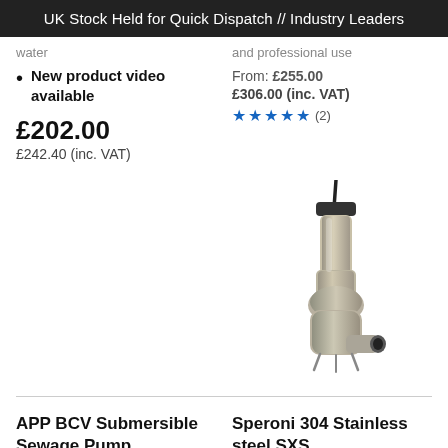UK Stock Held for Quick Dispatch // Industry Leaders
water
and professional use
New product video available
From: £255.00
£306.00 (inc. VAT)
£202.00
£242.40 (inc. VAT)
[Figure (photo): Stainless steel submersible pump with cable on top]
APP BCV Submersible Sewage Pump
Speroni 304 Stainless steel SXS